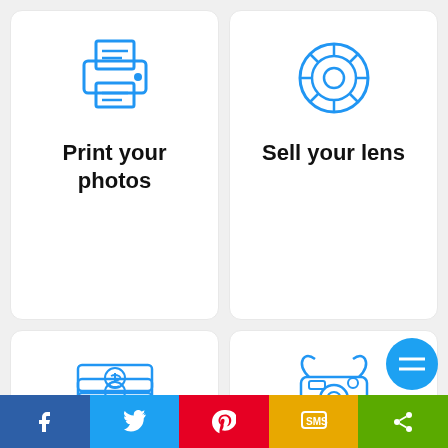[Figure (illustration): Blue printer icon]
Print your photos
[Figure (illustration): Blue camera lens icon]
Sell your lens
[Figure (illustration): Blue stack of money / bills icon]
Save $$ on lens
[Figure (illustration): Blue camera with strap icon]
Best Camera Strap
[Figure (illustration): Blue paper roll / backdrop icon]
Backdrops You Need
[Figure (illustration): Blue DSLR camera icon]
Camera deals
f  (twitter)  (pinterest)  SMS  (share)